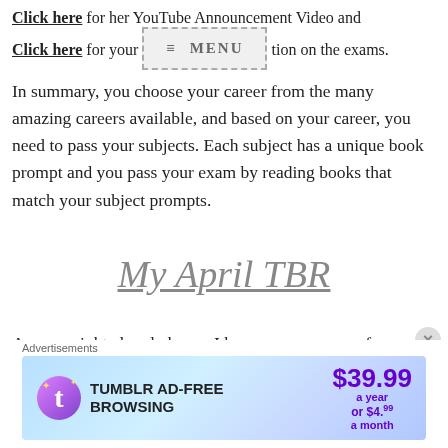Click here for her YouTube Announcement Video and Click here for your [MENU overlay] tion on the exams.
In summary, you choose your career from the many amazing careers available, and based on your career, you need to pass your subjects. Each subject has a unique book prompt and you pass your exam by reading books that match your subject prompts.
My April TBR
As you might already know, I have my own way of choosing my TBR books, and this includes spinning my TBR Wheel for prompts.
[Figure (screenshot): Tumblr Ad-Free Browsing advertisement banner showing $39.99 a year or $4.99 a month pricing with Tumblr logo]